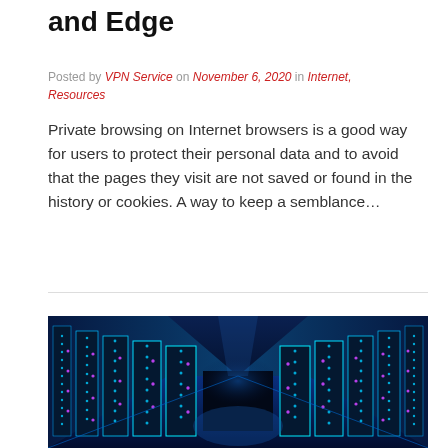and Edge
Posted by VPN Service on November 6, 2020 in Internet, Resources
Private browsing on Internet browsers is a good way for users to protect their personal data and to avoid that the pages they visit are not saved or found in the history or cookies. A way to keep a semblance…
[Figure (photo): Data center corridor with rows of server racks illuminated by blue and purple neon lights, perspective view showing a dark central area and glowing server panels on both sides.]